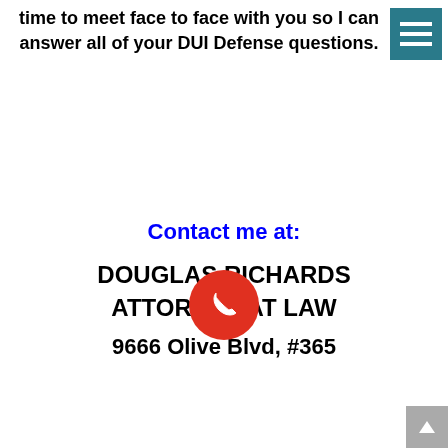time to meet face to face with you so I can answer all of your DUI Defense questions.
[Figure (other): Teal/dark cyan hamburger menu icon with three white horizontal lines on a square teal background]
Contact me at:
DOUGLAS RICHARDS ATTORNEY AT LAW
[Figure (other): Red circular phone/call button with white phone handset icon]
9666 Olive Blvd, #365
[Figure (other): Gray scroll-to-top arrow button in bottom right corner]